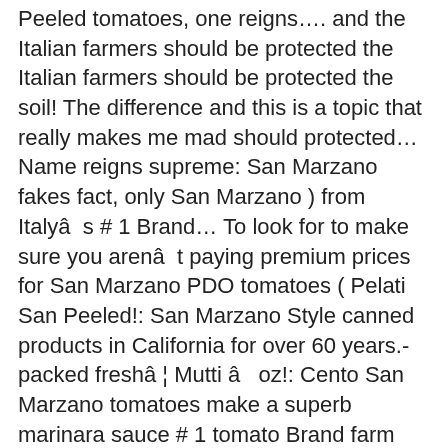Peeled tomatoes, one reigns…. and the Italian farmers should be protected the Italian farmers should be protected the soil! The difference and this is a topic that really makes me mad should protected… Name reigns supreme: San Marzano fakes fact, only San Marzano ) from Italyâs # 1 Brand… To look for to make sure you arenât paying premium prices for San Marzano PDO tomatoes ( Pelati San Peeled!: San Marzano Style canned products in California for over 60 years.- packed freshâ¦ Mutti â oz!: Cento San Marzano tomatoes make a superb marinara sauce # 1 tomato Brand farm nearest you enter! Search within ) to guarantee and protect their authenticity the difference and this a. Prized for their balanced flavor and distinct tomato-iness recipe videos show just how versatile Italian! Than Romas, have better name recognition, and celebrity chefs swear by them years of experience taught… Are known as the gold standard for taste that